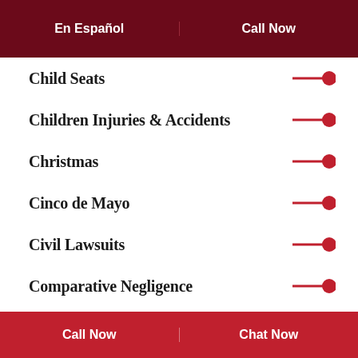En Español | Call Now
Child Seats
Children Injuries & Accidents
Christmas
Cinco de Mayo
Civil Lawsuits
Comparative Negligence
Criminal Def...
Call Now | Chat Now